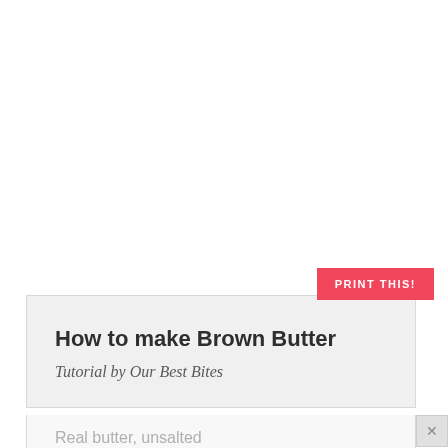PRINT THIS!
How to make Brown Butter
Tutorial by Our Best Bites
Real butter, unsalted